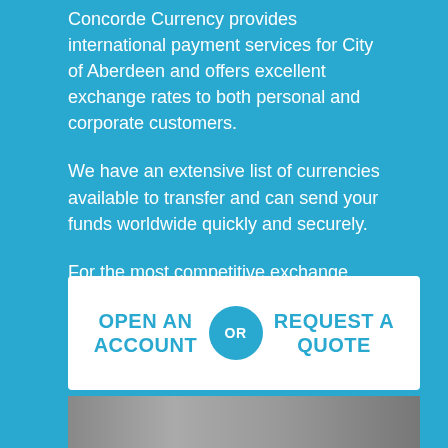Concorde Currency provides international payment services for City of Aberdeen and offers excellent exchange rates to both personal and corporate customers.
We have an extensive list of currencies available to transfer and can send your funds worldwide quickly and securely.
For the most competitive exchange rates in City of Aberdeen, feel free to call our office or chat with us online for any questions you may have.
OPEN AN ACCOUNT
OR
REQUEST A QUOTE